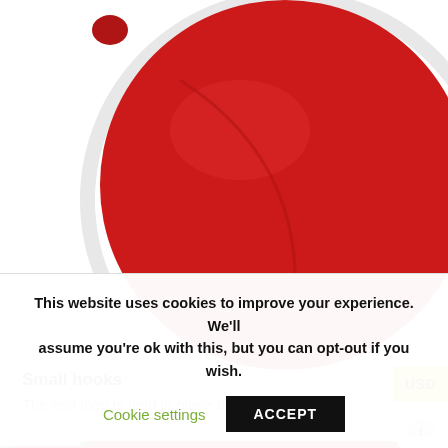[Figure (photo): Close-up of a round red silicone disc/cover with a white ring around the edge, photographed from above on a white background.]
Small hooks
The first loop is held in place by two small hooks.
[Figure (photo): Partial view of a red silicone watch band with watermelon seed pattern and a metal buckle clasp, on a white background.]
This website uses cookies to improve your experience. We'll assume you're ok with this, but you can opt-out if you wish.
Cookie settings
ACCEPT